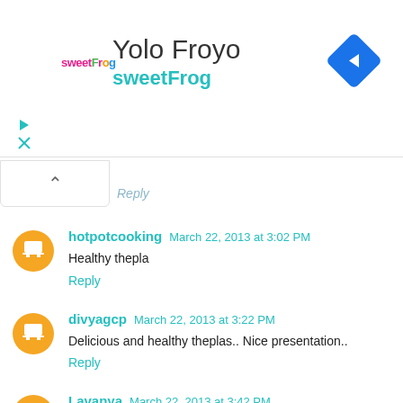[Figure (screenshot): Advertisement banner for Yolo Froyo / sweetFrog with logo, title text, and navigation arrow icon]
Reply
hotpotcooking  March 22, 2013 at 3:02 PM
Healthy thepla
Reply
divyagcp  March 22, 2013 at 3:22 PM
Delicious and healthy theplas.. Nice presentation..
Reply
Lavanya  March 22, 2013 at 3:42 PM
Looks delicious. Ur pics are superb
Participate & Win - Soulflower & Diva Likes Rs.1000/- Gift